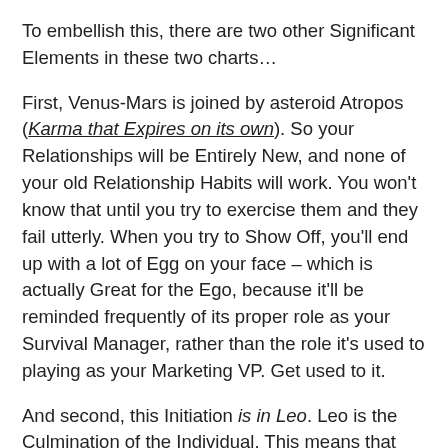To embellish this, there are two other Significant Elements in these two charts…
First, Venus-Mars is joined by asteroid Atropos (Karma that Expires on its own). So your Relationships will be Entirely New, and none of your old Relationship Habits will work. You won't know that until you try to exercise them and they fail utterly. When you try to Show Off, you'll end up with a lot of Egg on your face – which is actually Great for the Ego, because it'll be reminded frequently of its proper role as your Survival Manager, rather than the role it's used to playing as your Marketing VP. Get used to it.
And second, this Initiation is in Leo. Leo is the Culmination of the Individual. This means that the only way you'll get any Relationship to function well during this Cycle, is to Fully and Completely Respect one another's Self…